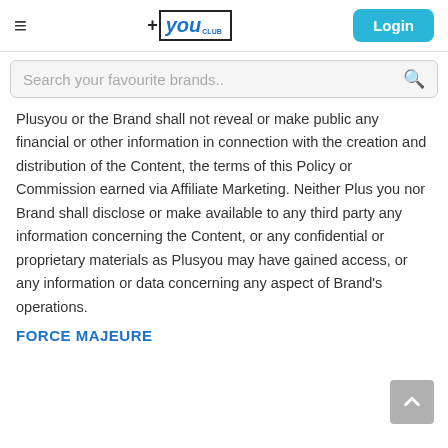+ you CLUB  Login
Search your favourite brands..
Plusyou or the Brand shall not reveal or make public any financial or other information in connection with the creation and distribution of the Content, the terms of this Policy or Commission earned via Affiliate Marketing. Neither Plus you nor Brand shall disclose or make available to any third party any information concerning the Content, or any confidential or proprietary materials as Plusyou may have gained access, or any information or data concerning any aspect of Brand's operations.
FORCE MAJEURE